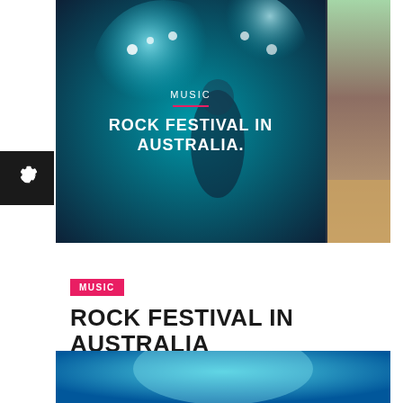[Figure (photo): Hero image of a rock concert performer on stage with blue/teal stage lighting, holding a microphone. Text overlay reads MUSIC and ROCK FESTIVAL IN AUSTRALIA. A side panel shows a warm-toned desert image.]
MUSIC
ROCK FESTIVAL IN AUSTRALIA
BKNINJA | 28 March, 2014 at 10:00
24097  1
[Figure (photo): Bottom teaser image showing blue/teal stage lighting at a rock concert.]